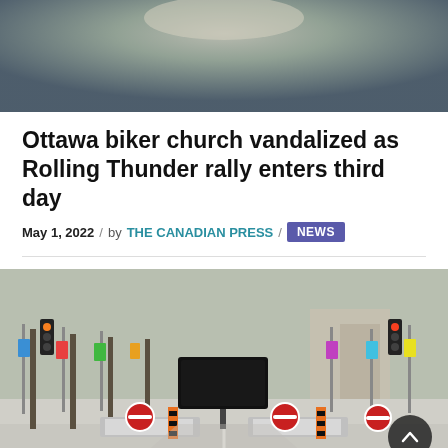[Figure (photo): Blurred sky photo at top of news article page, showing grey and beige tones]
Ottawa biker church vandalized as Rolling Thunder rally enters third day
May 1, 2022 / by THE CANADIAN PRESS / NEWS
[Figure (photo): Street-level photo of an Ottawa street (likely Sparks St or Wellington) blocked by red-and-white barricades and 'Do Not Enter' signs, colorful decorative banners on lamp posts, electronic sign in middle of road, snow on ground, bare trees.]